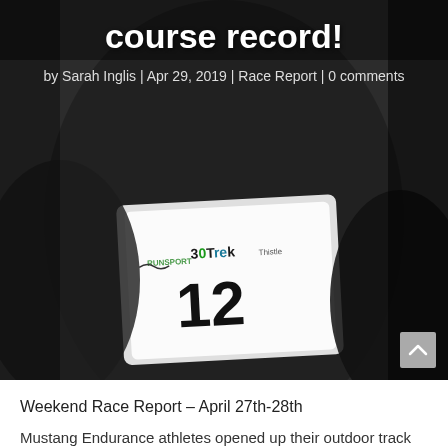[Figure (photo): Close-up photo of a runner wearing race bib number 12 with logos including Runsport, 30Trek, and Thistle/sponsor text on a white bib. Dark/dim background.]
course record!
by Sarah Inglis | Apr 29, 2019 | Race Report | 0 comments
Weekend Race Report – April 27th-28th
Mustang Endurance athletes opened up their outdoor track seasons at the 38th Annual Ralph